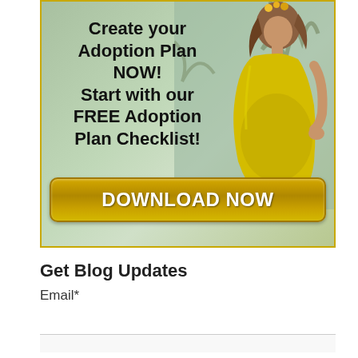[Figure (photo): Advertisement banner showing a pregnant woman in a yellow dress with flowers in her hair, standing outdoors. Text overlay reads: 'Create your Adoption Plan NOW! Start with our FREE Adoption Plan Checklist!' with a gold 'DOWNLOAD NOW' button at the bottom.]
Get Blog Updates
Email*